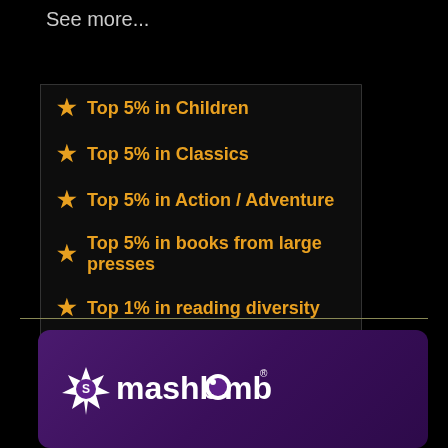See more...
★ Top 5% in Children
★ Top 5% in Classics
★ Top 5% in Action / Adventure
★ Top 5% in books from large presses
★ Top 1% in reading diversity
[Figure (logo): Smashbomb logo - white text on purple background with starburst icon]